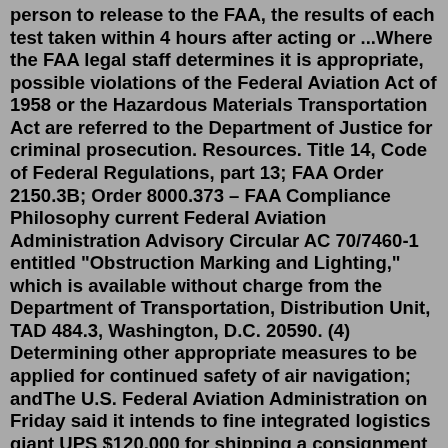person to release to the FAA, the results of each test taken within 4 hours after acting or ...Where the FAA legal staff determines it is appropriate, possible violations of the Federal Aviation Act of 1958 or the Hazardous Materials Transportation Act are referred to the Department of Justice for criminal prosecution. Resources. Title 14, Code of Federal Regulations, part 13; FAA Order 2150.3B; Order 8000.373 – FAA Compliance Philosophy current Federal Aviation Administration Advisory Circular AC 70/7460-1 entitled "Obstruction Marking and Lighting," which is available without charge from the Department of Transportation, Distribution Unit, TAD 484.3, Washington, D.C. 20590. (4) Determining other appropriate measures to be applied for continued safety of air navigation; andThe U.S. Federal Aviation Administration on Friday said it intends to fine integrated logistics giant UPS $120,000 for shipping a consignment of lithium batteries in an unsafe manner. The decision comes on the heels of airfreight interests stepping up pressure on governments to enforce